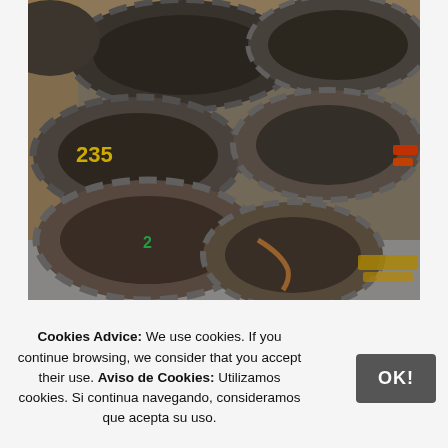[Figure (photo): Stack of large worn and dirty industrial/heavy equipment tires piled outdoors, some with yellow painted markings, on a concrete floor with a wooden wall or fence in the background.]
Cookies Advice: We use cookies. If you continue browsing, we consider that you accept their use. Aviso de Cookies: Utilizamos cookies. Si continua navegando, consideramos que acepta su uso.